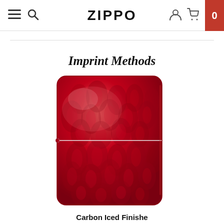ZIPPO — navigation header with hamburger menu, search, account and cart icons
Imprint Methods
[Figure (photo): A red Zippo lighter with an embossed carbon-iced flame pattern covering the front surface, shown against a white background. The lighter has a distinctive stepped hinge on the left side and a polished candy-apple red finish with debossed flame motifs.]
Carbon Iced Finishe